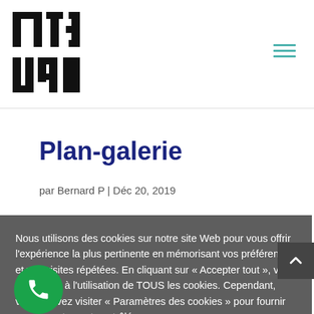[Figure (logo): PICTURA logo in black block letters]
Plan-galerie
par Bernard P | Déc 20, 2019
Nous utilisons des cookies sur notre site Web pour vous offrir l'expérience la plus pertinente en mémorisant vos préférences et vos visites répétées. En cliquant sur « Accepter tout », vous consentez à l'utilisation de TOUS les cookies. Cependant, vous pouvez visiter « Paramètres des cookies » pour fournir un consentement contrôlé.
Tout accepter